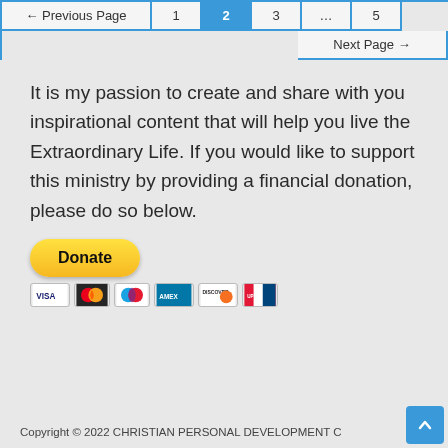← Previous Page  1  2  3  ...  5  | Next Page →
It is my passion to create and share with you inspirational content that will help you live the Extraordinary Life. If you would like to support this ministry by providing a financial donation, please do so below.
[Figure (other): PayPal Donate button with credit card icons (Visa, Mastercard, Maestro, American Express, Discover, UnionPay)]
Copyright © 2022 CHRISTIAN PERSONAL DEVELOPMENT COACH